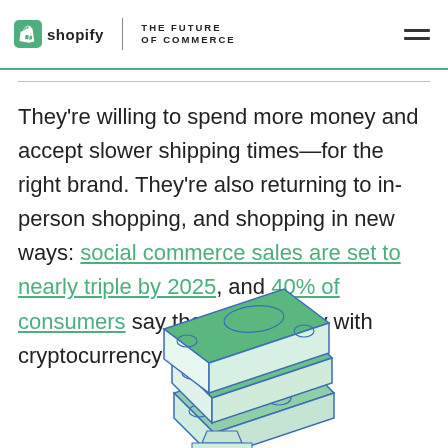shopify | THE FUTURE OF COMMERCE
They're willing to spend more money and accept slower shipping times—for the right brand. They're also returning to in-person shopping, and shopping in new ways: social commerce sales are set to nearly triple by 2025, and 40% of consumers say they plan to pay with cryptocurrency in the next year.
[Figure (illustration): Stylized isometric illustration of stacked flat cards or payment cards in green and blue tones, suggesting cryptocurrency or layered payment methods.]